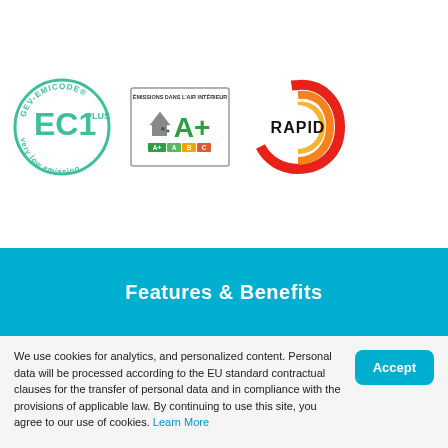[Figure (logo): GEV-EMICODE EC1 PLUS very low emission circular certification logo in teal/green]
[Figure (logo): Emissions dans l'air intérieur A+ rating label with colored scale]
[Figure (logo): RAPID logo with red/orange swirl design]
Features & Benefits
We use cookies for analytics, and personalized content. Personal data will be processed according to the EU standard contractual clauses for the transfer of personal data and in compliance with the provisions of applicable law. By continuing to use this site, you agree to our use of cookies. Learn More